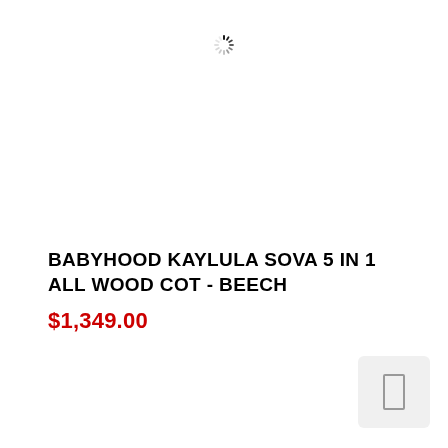[Figure (other): Loading spinner icon (circular dashes) indicating image is loading]
BABYHOOD KAYLULA SOVA 5 IN 1 ALL WOOD COT - BEECH
$1,349.00
[Figure (other): Small thumbnail placeholder box with a rectangle outline icon inside, light grey background with rounded corners]